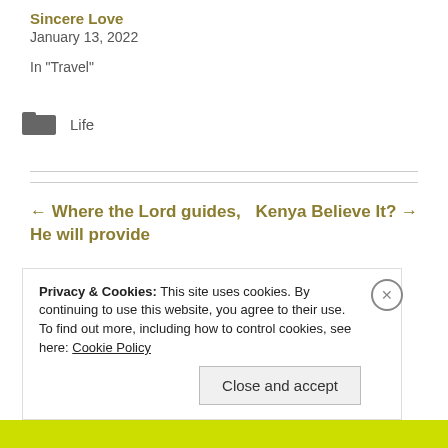Sincere Love
January 13, 2022
In "Travel"
Life
← Where the Lord guides, He will provide
Kenya Believe It? →
Privacy & Cookies: This site uses cookies. By continuing to use this website, you agree to their use.
To find out more, including how to control cookies, see here: Cookie Policy
Close and accept